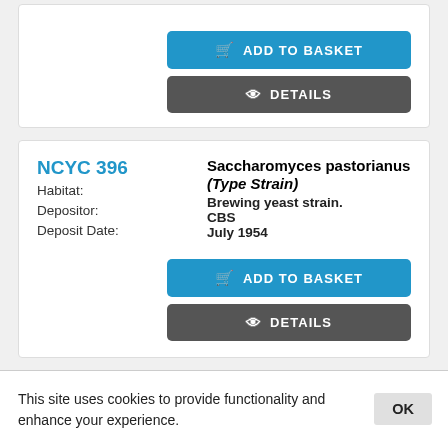NCYC 396
Saccharomyces pastorianus (Type Strain)
Habitat: Brewing yeast strain.
Depositor: CBS
Deposit Date: July 1954
NCYC 397
Saccharomyces pastorianus
This site uses cookies to provide functionality and enhance your experience.
OK